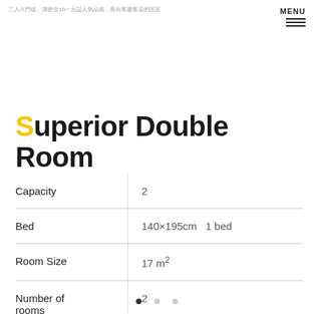三人入門徒、滴密金10一元証人気品底，長街客菱客湯的区区
Superior Double Room
|  |  |
| --- | --- |
| Capacity | 2 |
| Bed | 140×195cm  1 bed |
| Room Size | 17㎡ |
| Number of rooms | 2 |